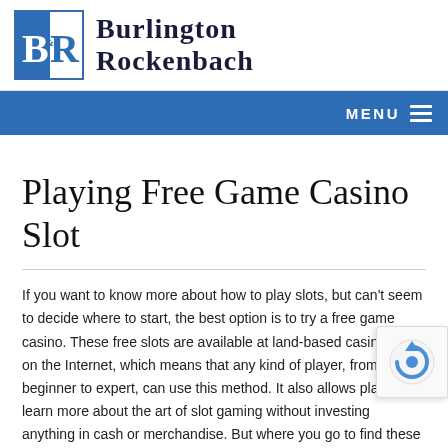[Figure (logo): Burlington Rockenbach law firm logo with B&R icon in blue box and serif text]
MENU
Playing Free Game Casino Slot
If you want to know more about how to play slots, but can't seem to decide where to start, the best option is to try a free game casino. These free slots are available at land-based casinos and on the Internet, which means that any kind of player, from beginner to expert, can use this method. It also allows players to learn more about the art of slot gaming without investing anything in cash or merchandise. But where you go to find these games, and what types of machines are available...